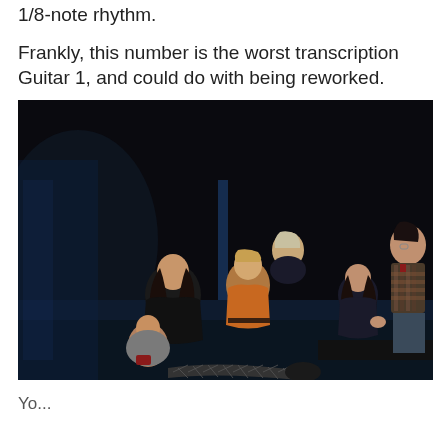1/8-note rhythm. Frankly, this number is the worst transcription Guitar 1, and could do with being reworked.
[Figure (photo): A theatrical stage scene showing five young performers gathered around a person lying on a dark stage. One performer in a leather jacket holds another who is seated; a person in an orange/rust top leans forward in the center; another with long dark hair kneels to the right; and a taller figure in a plaid shirt stands in the upper right. The lighting is dramatic with blue and warm tones on a dark stage.]
Yo...